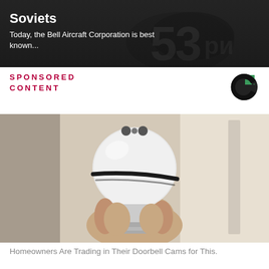[Figure (photo): Dark background image with bold white text 'Soviets' as headline and subtitle 'Today, the Bell Aircraft Corporation is best known...' with large faded numbers in the background]
SPONSORED CONTENT
[Figure (logo): Sponsor logo - circular C shape with green and black colors]
[Figure (photo): Close-up photo of a hand holding a white smart light bulb with a black stripe/line across it, indoors]
Homeowners Are Trading in Their Doorbell Cams for This.